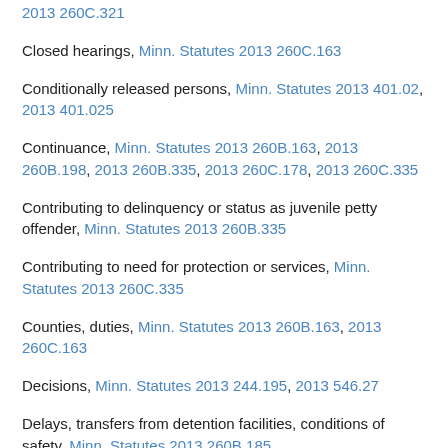2013 260C.321
Closed hearings, Minn. Statutes 2013 260C.163
Conditionally released persons, Minn. Statutes 2013 401.02, 2013 401.025
Continuance, Minn. Statutes 2013 260B.163, 2013 260B.198, 2013 260B.335, 2013 260C.178, 2013 260C.335
Contributing to delinquency or status as juvenile petty offender, Minn. Statutes 2013 260B.335
Contributing to need for protection or services, Minn. Statutes 2013 260C.335
Counties, duties, Minn. Statutes 2013 260B.163, 2013 260C.163
Decisions, Minn. Statutes 2013 244.195, 2013 546.27
Delays, transfers from detention facilities, conditions of safety, Minn. Statutes 2013 260B.185